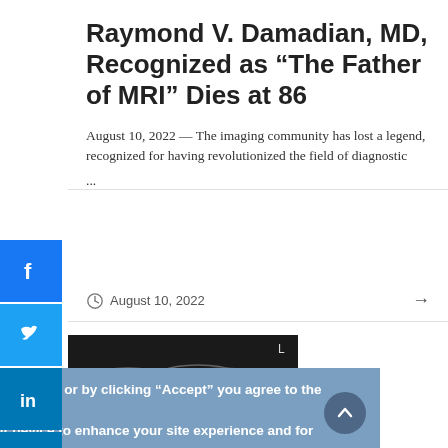Raymond V. Damadian, MD, Recognized as “The Father of MRI” Dies at 86
August 10, 2022 — The imaging community has lost a legend, recognized for having revolutionized the field of diagnostic ...
August 10, 2022
[Figure (photo): Grayscale MRI scan image showing spinal or anatomical scan with label L visible]
tinuing to browse or by clicking “Accept” you agree to the storing of s on your device to enhance your site experience and for analytical arketing purposes.
n more about how we use cookies, please see our cookie policy.
OK, I agree   No, thanks